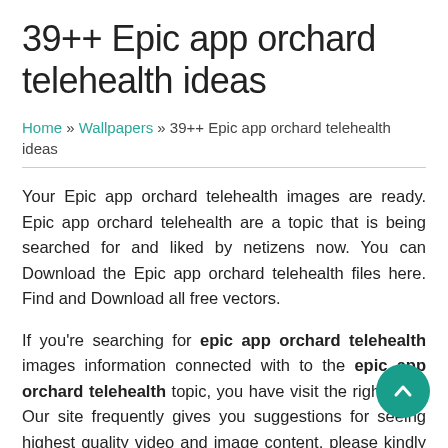39++ Epic app orchard telehealth ideas
Home » Wallpapers » 39++ Epic app orchard telehealth ideas
Your Epic app orchard telehealth images are ready. Epic app orchard telehealth are a topic that is being searched for and liked by netizens now. You can Download the Epic app orchard telehealth files here. Find and Download all free vectors.
If you're searching for epic app orchard telehealth images information connected with to the epic app orchard telehealth topic, you have visit the right blog. Our site frequently gives you suggestions for seeing highest quality video and image content, please kindly surf and locate more informative video articles and